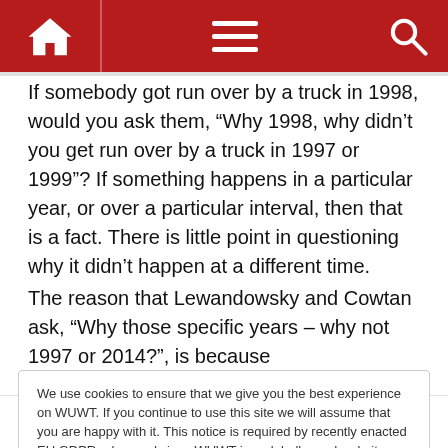WUWT navigation bar with home, menu, and search icons
If somebody got run over by a truck in 1998, would you ask them, “Why 1998, why didn’t you get run over by a truck in 1997 or 1999”? If something happens in a particular year, or over a particular interval, then that is a fact. There is little point in questioning why it didn’t happen at a different time.
The reason that Lewandowsky and Cowtan ask, “Why those specific years – why not 1997 or 2014?”, is because
We use cookies to ensure that we give you the best experience on WUWT. If you continue to use this site we will assume that you are happy with it. This notice is required by recently enacted EU GDPR rules, and since WUWT is a globally read website, we need to keep the bureaucrats off our case! Cookie Policy
will cherry pick intervals which “look like” a slowdown, but